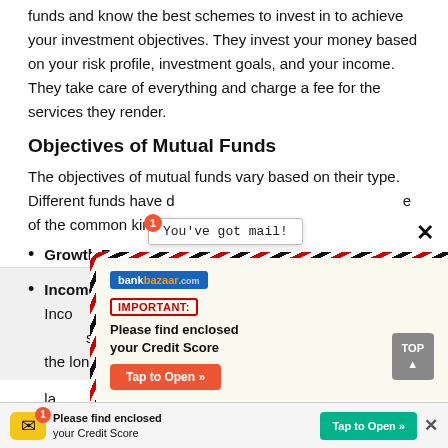funds and know the best schemes to invest in to achieve your investment objectives. They invest your money based on your risk profile, investment goals, and your income. They take care of everything and charge a fee for the services they render.
Objectives of Mutual Funds
The objectives of mutual funds vary based on their type. Different funds have different objectives. Here are some of the common kinds of mutual fund objectives:
Growth Funds
As the term suggests, growth funds aim at achieving growth. All growth funds invest in equity. The primary objective of growth fund is to achieve capital appreciation between the medium and long term. The corpus of these funds is usually invested in small to large cap stocks.
Income Funds
Income funds aim at generating income over long periods of time. They do not seek capital appreciation in the long run, and
[Figure (screenshot): Popup ad from BankBazaar showing 'You've got mail!' notification and an envelope graphic with text: IMPORTANT: Please find enclosed your Credit Score. Tap to Open button. Close X button shown. Free stamp graphic visible.]
[Figure (screenshot): Bottom banner ad: Mail icon with notification badge showing 1, text 'Please find enclosed your Credit Score', green 'Tap to Open >>' button, and X close button.]